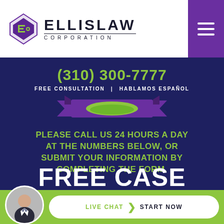[Figure (logo): Ellis Law Corporation logo with purple diamond-shaped icon and bold ELLISLAW text with CORPORATION subtitle]
(310) 300-7777
FREE CONSULTATION · HABLAMOS ESPAÑOL
[Figure (illustration): Purple and green decorative ribbon/banner graphic]
PLEASE CALL US 24 HOURS A DAY AT THE NUMBERS BELOW, OR SUBMIT YOUR INFORMATION BY COMPLETING THE FORM.
FREE CASE EVALUATION
[Figure (photo): Circular avatar photo of a man in a suit]
LIVE CHAT › START NOW